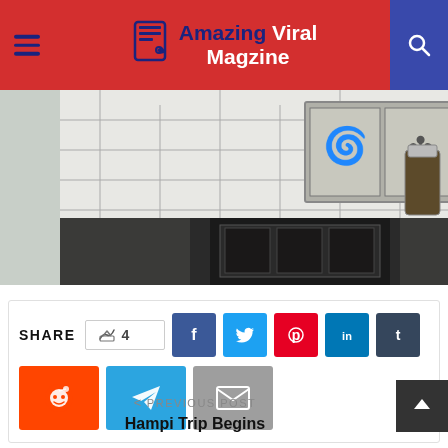Amazing Viral Magzine
[Figure (photo): Kitchen backsplash with decorative Celtic/ornamental metal tiles set in white subway tiles, with black countertop and a stovetop visible]
[Figure (infographic): Share bar with like count (4) and social media buttons: Facebook, Twitter, Pinterest, LinkedIn, Tumblr, Reddit, Telegram, Email]
< PREVIOUS POST
Hampi Trip Begins